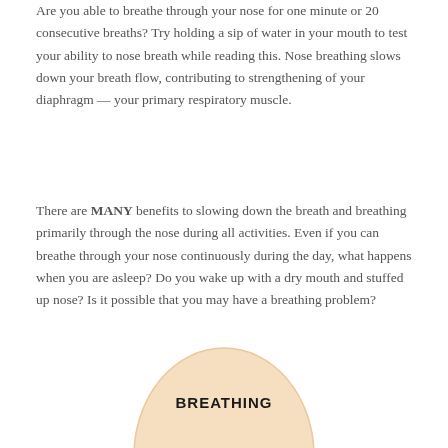Are you able to breathe through your nose for one minute or 20 consecutive breaths? Try holding a sip of water in your mouth to test your ability to nose breath while reading this. Nose breathing slows down your breath flow, contributing to strengthening of your diaphragm — your primary respiratory muscle.
There are MANY benefits to slowing down the breath and breathing primarily through the nose during all activities. Even if you can breathe through your nose continuously during the day, what happens when you are asleep? Do you wake up with a dry mouth and stuffed up nose? Is it possible that you may have a breathing problem?
[Figure (illustration): A partial oval/egg shape with a peach/beige fill color, partially visible at the bottom of the page. The word BREATHING appears in bold black text centered within the shape.]